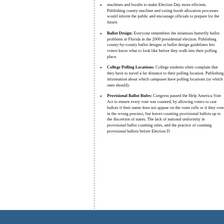machines and booths to make Election Day more efficient. Publishing county machine and voting booth allocation processes would inform the public and encourage officials to prepare for the future.
Ballot Design: Everyone remembers the infamous butterfly ballot problems in Florida in the 2000 presidential election. Publishing county-by-county ballot designs or ballot design guidelines lets voters know what to look like before they walk into their polling place.
College Polling Locations: College students often complain that they have to travel a far distance to their polling location. Publishing information about which campuses have polling locations (or which ones should).
Provisional Ballot Rules: Congress passed the Help America Vote Act to ensure every vote was counted, by allowing voters to cast ballots if their name does not appear on the voter rolls or if they vote in the wrong precinct, but leaves counting provisional ballots up to the discretion of states. The lack of national uniformity in provisional ballot counting rules, and the practice of counting provisional ballots before Election Day has passed.